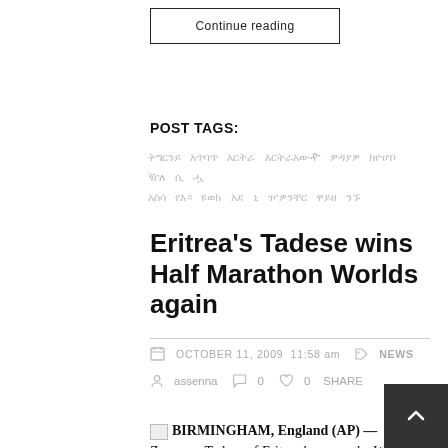Continue reading
POST TAGS:
[Tigrinya tag links]
Eritrea's Tadese wins Half Marathon Worlds again
OCTOBER 11, 2009  11:58 am   NEWS
assenna  0  0  SHARE
BIRMINGHAM, England (AP) — Zersenay Tadese of Eritrea has won the World Half Marathon title for the third time in a row